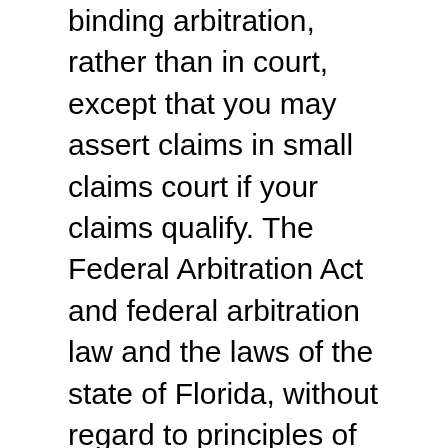binding arbitration, rather than in court, except that you may assert claims in small claims court if your claims qualify. The Federal Arbitration Act and federal arbitration law and the laws of the state of Florida, without regard to principles of conflict of laws, will govern this Legal Notice and Disclaimer and any dispute of any sort that might arise between you and Company. To begin an arbitration proceeding, you must send a letter requesting arbitration and describing your claim to our registered agent Corporation Service Company, 2711 Centerville Road, Wilmington, DE 19808. The arbitration will be conducted by the American Arbitration Association (AAA) under its rules, including the AAA's Supplementary Procedures for Consumer-Related Disputes. The AAA's rules are available at www.adr.org or by calling 1-800-778-7879. Payment of all filing, administration and arbitrator fees will be governed